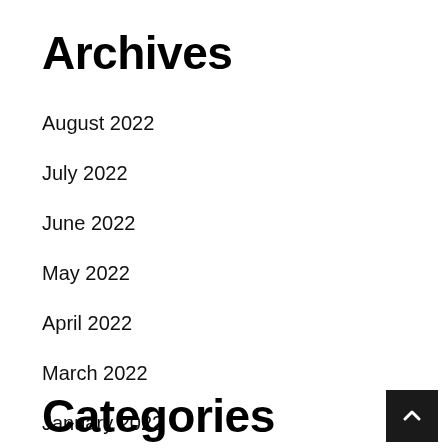Archives
August 2022
July 2022
June 2022
May 2022
April 2022
March 2022
January 2022
Categories